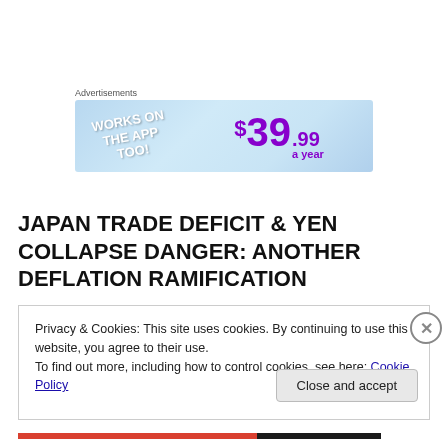Advertisements
[Figure (other): Advertisement banner with light blue background. Left side shows white bold text 'WORKS ON THE APP TOO!' at an angle. Right side shows purple bold text '$39.99 a year'.]
JAPAN TRADE DEFICIT & YEN COLLAPSE DANGER: ANOTHER DEFLATION RAMIFICATION
Privacy & Cookies: This site uses cookies. By continuing to use this website, you agree to their use.
To find out more, including how to control cookies, see here: Cookie Policy
Close and accept